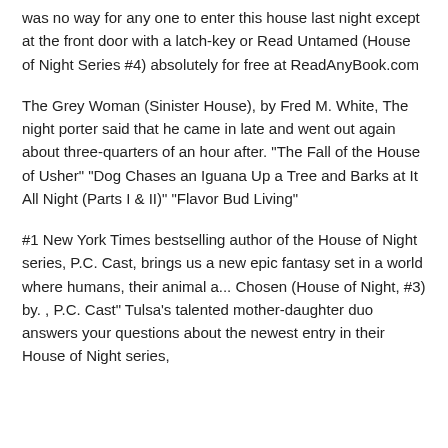was no way for any one to enter this house last night except at the front door with a latch-key or Read Untamed (House of Night Series #4) absolutely for free at ReadAnyBook.com
The Grey Woman (Sinister House), by Fred M. White, The night porter said that he came in late and went out again about three-quarters of an hour after. "The Fall of the House of Usher" "Dog Chases an Iguana Up a Tree and Barks at It All Night (Parts I & II)" "Flavor Bud Living"
#1 New York Times bestselling author of the House of Night series, P.C. Cast, brings us a new epic fantasy set in a world where humans, their animal a... Chosen (House of Night, #3) by. , P.C. Cast" Tulsa's talented mother-daughter duo answers your questions about the newest entry in their House of Night series,